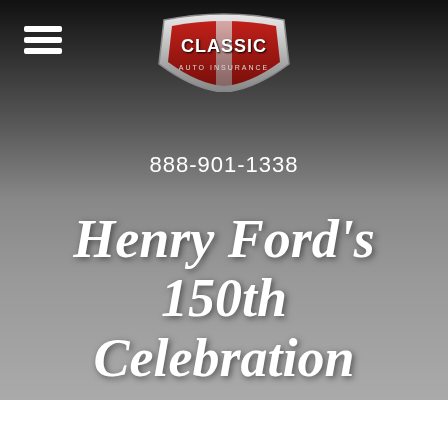[Figure (logo): Classic Auto Insurance logo — shield/badge shape with red and chrome metallic styling, text reads CLASSIC on top and AUTO INSURANCE below]
888-901-1338
Henry Ford's 150th Celebration